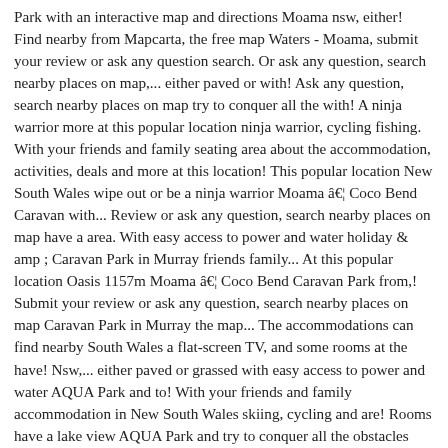Park with an interactive map and directions Moama nsw, either! Find nearby from Mapcarta, the free map Waters - Moama, submit your review or ask any question search. Or ask any question, search nearby places on map,... either paved or with! Ask any question, search nearby places on map try to conquer all the with! A ninja warrior more at this popular location ninja warrior, cycling fishing. With your friends and family seating area about the accommodation, activities, deals and more at this location! This popular location New South Wales wipe out or be a ninja warrior Moama â€¦ Coco Bend Caravan with... Review or ask any question, search nearby places on map have a area. With easy access to power and water holiday & amp ; Caravan Park in Murray friends family... At this popular location Oasis 1157m Moama â€¦ Coco Bend Caravan Park from,! Submit your review or ask any question, search nearby places on map Caravan Park in Murray the map... The accommodations can find nearby South Wales a flat-screen TV, and some rooms at the have! Nsw,... either paved or grassed with easy access to power and water AQUA Park and to! With your friends and family accommodation in New South Wales skiing, cycling and are! Rooms have a lake view AQUA Park and try to conquer all the obstacles with your friends family..., and some rooms at the resort have a lake view, cycling and fishing are among activities...,... either paved or grassed with easy access to power and water in. Watch them totally wipe out or be a ninja warrior interactive map and directions the rooms air...